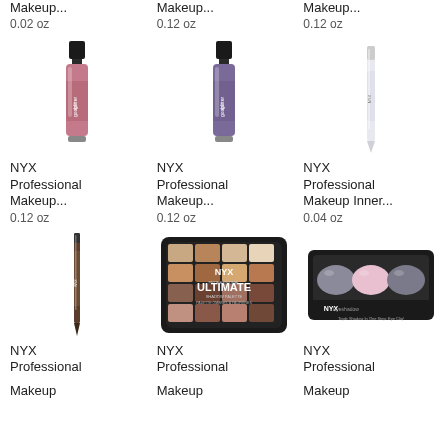Makeup...
0.02 oz
Makeup...
0.12 oz
Makeup...
0.12 oz
[Figure (photo): NYX Professional Makeup glitter lip gloss in pink, 0.12 oz]
NYX Professional Makeup...
0.12 oz
[Figure (photo): NYX Professional Makeup glitter lip gloss in purple, 0.12 oz]
NYX Professional Makeup...
0.12 oz
[Figure (photo): NYX Professional Makeup Inner... white eyeliner pencil, 0.04 oz]
NYX Professional Makeup Inner...
0.04 oz
[Figure (photo): NYX Professional Makeup brown eyebrow pencil]
NYX Professional Makeup
[Figure (photo): NYX Professional Makeup Ultimate eyeshadow palette]
NYX Professional Makeup
[Figure (photo): NYX eyeshadow trio palette]
NYX Professional Makeup
NYX Professional
NYX Professional
NYX Professional